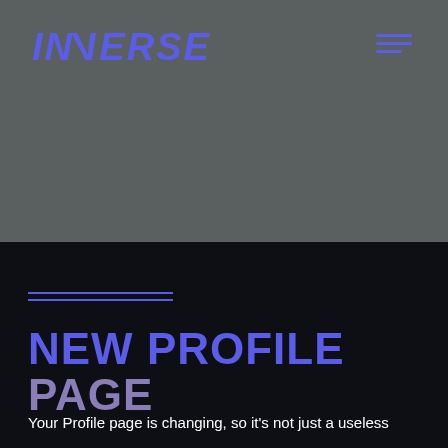INVERSE
NEW PROFILE PAGE
Your Profile page is changing, so it's not just a useless